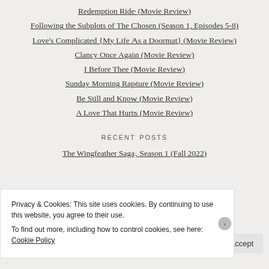Redemption Ride (Movie Review)
Following the Subplots of The Chosen (Season 1, Episodes 5-8)
Love's Complicated {My Life As a Doormat} (Movie Review)
Clancy Once Again (Movie Review)
I Before Thee (Movie Review)
Sunday Morning Rapture (Movie Review)
Be Still and Know (Movie Review)
A Love That Hurts (Movie Review)
RECENT POSTS
The Wingfeather Saga, Season 1 (Fall 2022)
Privacy & Cookies: This site uses cookies. By continuing to use this website, you agree to their use.
To find out more, including how to control cookies, see here: Cookie Policy
Close and accept